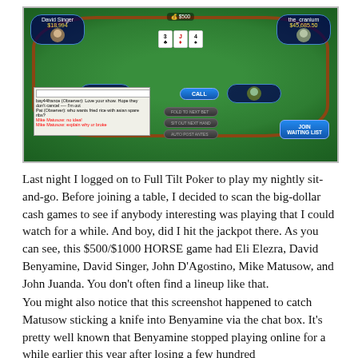[Figure (screenshot): Screenshot of Full Tilt Poker online poker game showing a $500/$1000 HORSE cash game with players including David Singer ($18,994), John D'Agostino ($29,297.75), the_cranium ($45,685.50), and a pot of $500. Chat box shows Mike Matusow insulting Benyamine. Action buttons visible including CALL and JOIN WAITING LIST.]
Last night I logged on to Full Tilt Poker to play my nightly sit-and-go. Before joining a table, I decided to scan the big-dollar cash games to see if anybody interesting was playing that I could watch for a while. And boy, did I hit the jackpot there. As you can see, this $500/$1000 HORSE game had Eli Elezra, David Benyamine, David Singer, John D'Agostino, Mike Matusow, and John Juanda. You don't often find a lineup like that.
You might also notice that this screenshot happened to catch Matusow sticking a knife into Benyamine via the chat box. It's pretty well known that Benyamine stopped playing online for a while earlier this year after losing a few hundred thousand dollars at betting, and into it, you get to